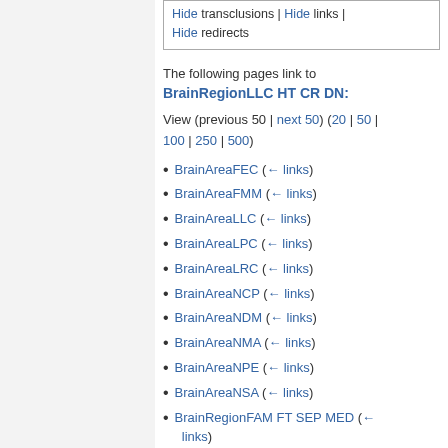Hide transclusions | Hide links | Hide redirects
The following pages link to
BrainRegionLLC HT CR DN:
View (previous 50 | next 50) (20 | 50 | 100 | 250 | 500)
BrainAreaFEC  (← links)
BrainAreaFMM  (← links)
BrainAreaLLC  (← links)
BrainAreaLPC  (← links)
BrainAreaLRC  (← links)
BrainAreaNCP  (← links)
BrainAreaNDM  (← links)
BrainAreaNMA  (← links)
BrainAreaNPE  (← links)
BrainAreaNSA  (← links)
BrainRegionFAM FT SEP MED  (← links)